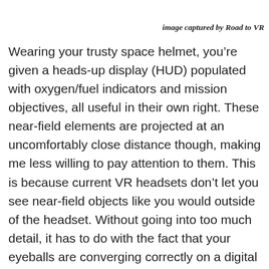image captured by Road to VR
Wearing your trusty space helmet, you’re given a heads-up display (HUD) populated with oxygen/fuel indicators and mission objectives, all useful in their own right. These near-field elements are projected at an uncomfortably close distance though, making me less willing to pay attention to them. This is because current VR headsets don’t let you see near-field objects like you would outside of the headset. Without going into too much detail, it has to do with the fact that your eyeballs are converging correctly on a digital object, but you’re not focusing the way you normally would because the light from the display is focused at the